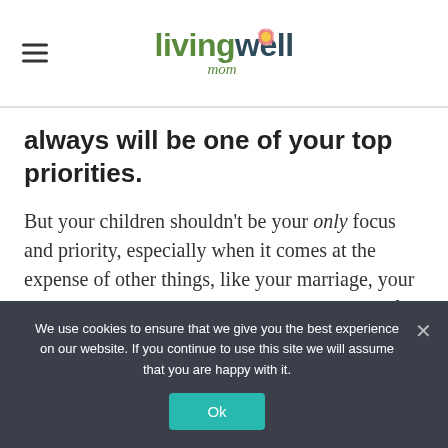living well mom
always will be one of your top priorities.
But your children shouldn't be your only focus and priority, especially when it comes at the expense of other things, like your marriage, your health and sanity, and the overall well-being of your whole family.
We use cookies to ensure that we give you the best experience on our website. If you continue to use this site we will assume that you are happy with it.